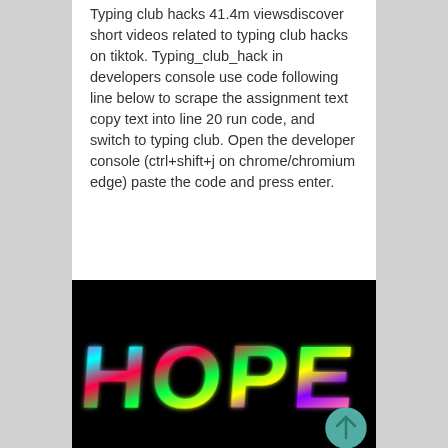Typing club hacks 41.4m viewsdiscover short videos related to typing club hacks on tiktok. Typing_club_hack in developers console use code following line below to scrape the assignment text copy text into line 20 run code, and switch to typing club. Open the developer console (ctrl+shift+j on chrome/chromium edge) paste the code and press enter.
[Figure (illustration): Black background with colorful psychedelic 'HOPE' text in multicolored neon-style lettering (pink, cyan, red, green, yellow, purple). A teal circular scroll-up button with an upward arrow is visible in the bottom-right corner.]